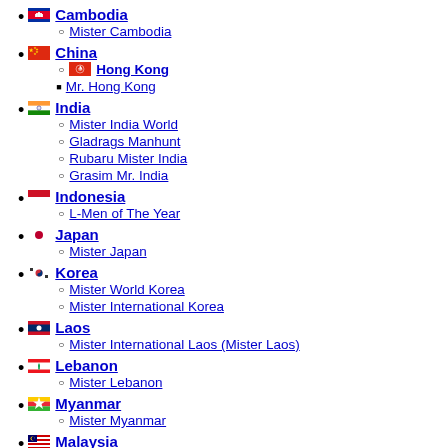Cambodia
Mister Cambodia
China
Hong Kong
Mr. Hong Kong
India
Mister India World
Gladrags Manhunt
Rubaru Mister India
Grasim Mr. India
Indonesia
L-Men of The Year
Japan
Mister Japan
Korea
Mister World Korea
Mister International Korea
Laos
Mister International Laos (Mister Laos)
Lebanon
Mister Lebanon
Myanmar
Mister Myanmar
Malaysia